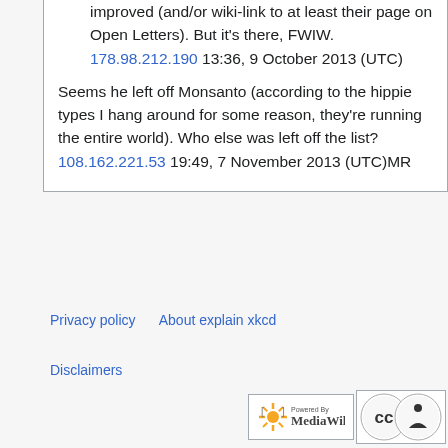improved (and/or wiki-link to at least their page on Open Letters). But it's there, FWIW. 178.98.212.190 13:36, 9 October 2013 (UTC)
Seems he left off Monsanto (according to the hippie types I hang around for some reason, they're running the entire world). Who else was left off the list? 108.162.221.53 19:49, 7 November 2013 (UTC)MR
Privacy policy   About explain xkcd
Disclaimers